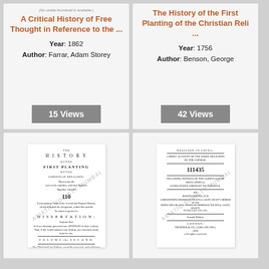A Critical History of Free Thought in Reference to the ...
Year: 1862
Author: Farrar, Adam Storey
15 Views
The History of the First Planting of the Christian Reli ...
Year: 1756
Author: Benson, George
42 Views
[Figure (photo): Scanned title page of 'The History of the First Planting of the Christian Religion' by George Benson, Volume the Second, London, with ASIATIC SOCIETY MUMBAI watermark]
[Figure (photo): Scanned title page of 'Religion in China: A Brief Account of the Three Religions of the Chinese' by Joseph Edkins, London, Trubner & Co, with ASIATIC SOCIETY MUMBAI watermark]